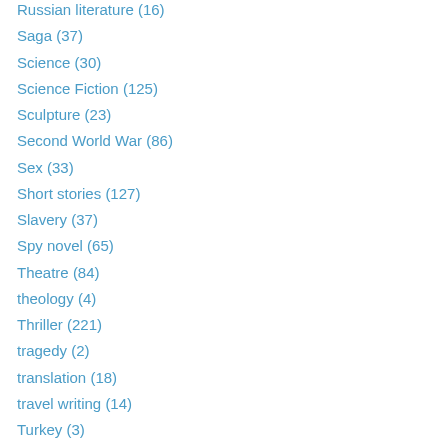Russian literature (16)
Saga (37)
Science (30)
Science Fiction (125)
Sculpture (23)
Second World War (86)
Sex (33)
Short stories (127)
Slavery (37)
Spy novel (65)
Theatre (84)
theology (4)
Thriller (221)
tragedy (2)
translation (18)
travel writing (14)
Turkey (3)
TV (11)
Uncategorized (8)
Vietnam War (7)